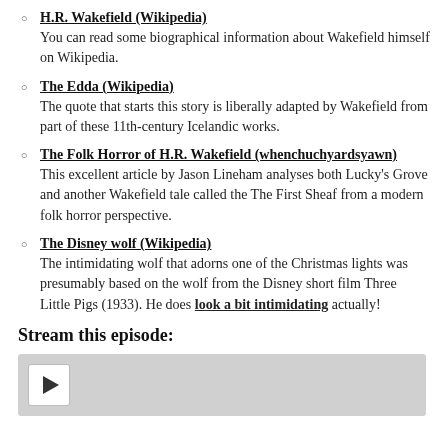H.R. Wakefield (Wikipedia)
You can read some biographical information about Wakefield himself on Wikipedia.
The Edda (Wikipedia)
The quote that starts this story is liberally adapted by Wakefield from part of these 11th-century Icelandic works.
The Folk Horror of H.R. Wakefield (whenchuchyardsyawn)
This excellent article by Jason Lineham analyses both Lucky's Grove and another Wakefield tale called the The First Sheaf from a modern folk horror perspective.
The Disney wolf (Wikipedia)
The intimidating wolf that adorns one of the Christmas lights was presumably based on the wolf from the Disney short film Three Little Pigs (1933). He does look a bit intimidating actually!
Stream this episode:
[Figure (other): Audio media player with play button]